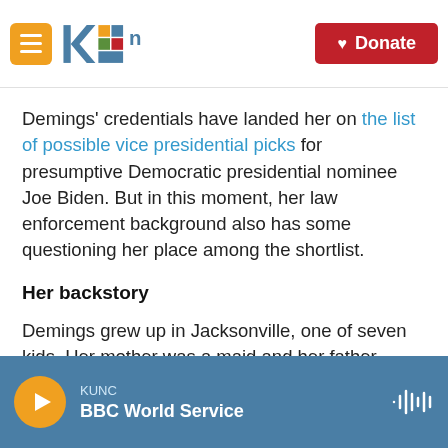KUNC | Donate
Demings' credentials have landed her on the list of possible vice presidential picks for presumptive Democratic presidential nominee Joe Biden. But in this moment, her law enforcement background also has some questioning her place among the shortlist.
Her backstory
Demings grew up in Jacksonville, one of seven kids. Her mother was a maid and her father worked as a janitor.
KUNC | BBC World Service